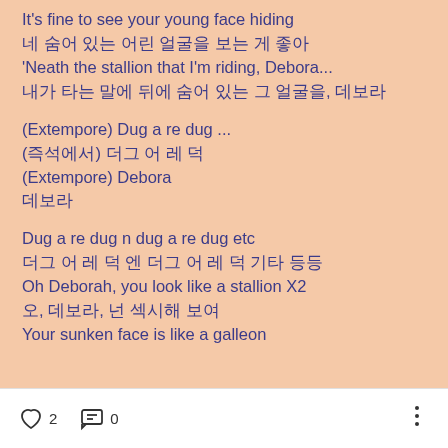It's fine to see your young face hiding
네 숨어 있는 어린 얼굴을 보는 게 좋아
'Neath the stallion that I'm riding, Debora...
내가 타는 말에 뒤에 숨어 있는 그 얼굴을, 데보라
(Extempore) Dug a re dug ...
(즉석에서) 더그 어 레 덕
(Extempore) Debora
데보라
Dug a re dug n dug a re dug etc
더그 어 레 덕 엔 더그 어 레 덕 기타 등등
Oh Deborah, you look like a stallion X2
오, 데보라, 넌 섹시해 보여
Your sunken face is like a galleon
♡ 2   💬 0